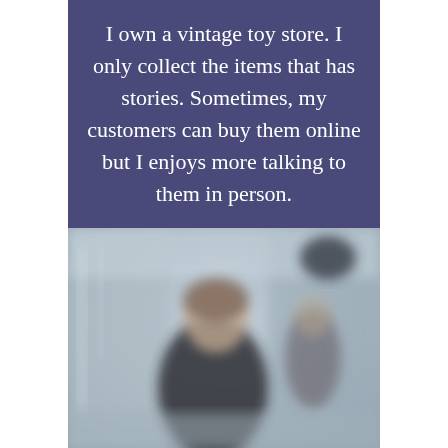I own a vintage toy store. I only collect the items that has stories. Sometimes, my customers can buy them online but I enjoys more talking to them in person.
[Figure (photo): A blurred photograph of a person in a black shirt standing in what appears to be a store or indoor space, with blurred surroundings including shelving and another figure in the background.]